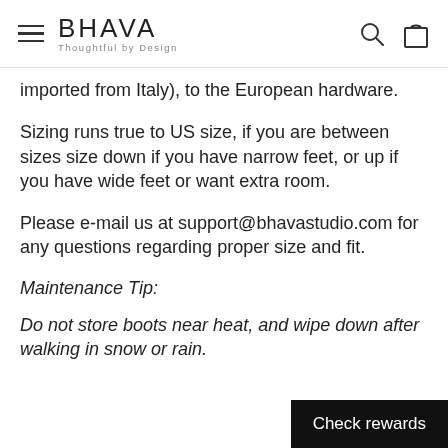BHAVA Thoughtful by Design
imported from Italy), to the European hardware.
Sizing runs true to US size, if you are between sizes size down if you have narrow feet, or up if you have wide feet or want extra room.
Please e-mail us at support@bhavastudio.com for any questions regarding proper size and fit.
Maintenance Tip:
Do not store boots near heat, and wipe down after walking in snow or rain.
Check rewards